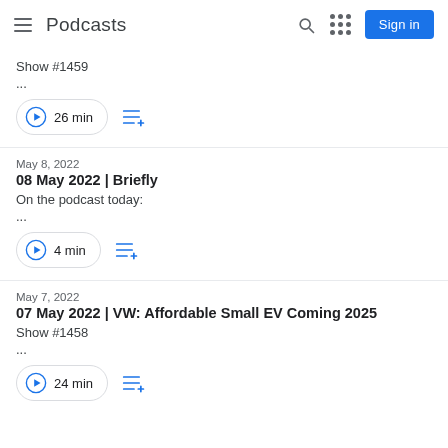Podcasts
Show #1459
...
26 min
May 8, 2022
08 May 2022 | Briefly
On the podcast today:
...
4 min
May 7, 2022
07 May 2022 | VW: Affordable Small EV Coming 2025
Show #1458
...
24 min